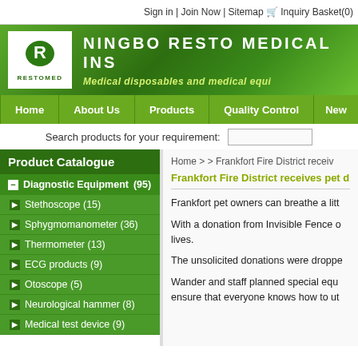Sign in | Join Now | Sitemap  Inquiry Basket(0)
[Figure (logo): Restomed logo: white box with green R icon and RESTOMED text below]
NINGBO RESTO MEDICAL INS
Medical disposables and medical equi
Home | About Us | Products | Quality Control | New
Search products for your requirement:
Product Catalogue
- Diagnostic Equipment (95)
Stethoscope (15)
Sphygmomanometer (36)
Thermometer (13)
ECG products (9)
Otoscope (5)
Neurological hammer (8)
Medical test device (9)
Home > > Frankfort Fire District receiv
Frankfort Fire District receives pet d
Frankfort pet owners can breathe a litt
With a donation from Invisible Fence of lives.
The unsolicited donations were droppe
Wander and staff planned special equ ensure that everyone knows how to ut